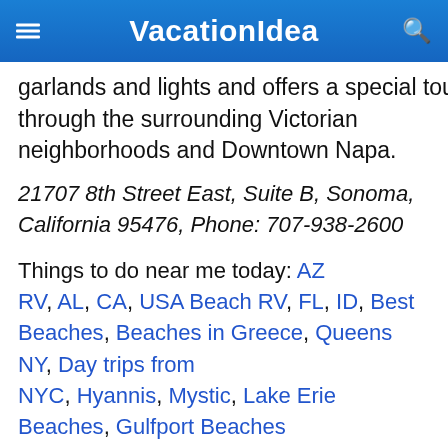VacationIdea
garlands and lights and offers a special tour through the surrounding Victorian neighborhoods and Downtown Napa.
21707 8th Street East, Suite B, Sonoma, California 95476, Phone: 707-938-2600
Things to do near me today: AZ RV, AL, CA, USA Beach RV, FL, ID, Best Beaches, Beaches in Greece, Queens NY, Day trips from NYC, Hyannis, Mystic, Lake Erie Beaches, Gulfport Beaches